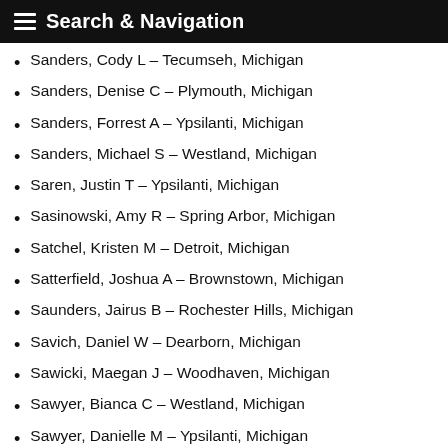Search & Navigation
Sanders, Cody L - Tecumseh, Michigan
Sanders, Denise C - Plymouth, Michigan
Sanders, Forrest A - Ypsilanti, Michigan
Sanders, Michael S - Westland, Michigan
Saren, Justin T - Ypsilanti, Michigan
Sasinowski, Amy R - Spring Arbor, Michigan
Satchel, Kristen M - Detroit, Michigan
Satterfield, Joshua A - Brownstown, Michigan
Saunders, Jairus B - Rochester Hills, Michigan
Savich, Daniel W - Dearborn, Michigan
Sawicki, Maegan J - Woodhaven, Michigan
Sawyer, Bianca C - Westland, Michigan
Sawyer, Danielle M - Ypsilanti, Michigan
Scarber, Angela E - Ypsilanti, Michigan
Scarbrough, Evan A - Canton, Michigan
Scavo, Luisa C - Saint Clair Shores, Michigan